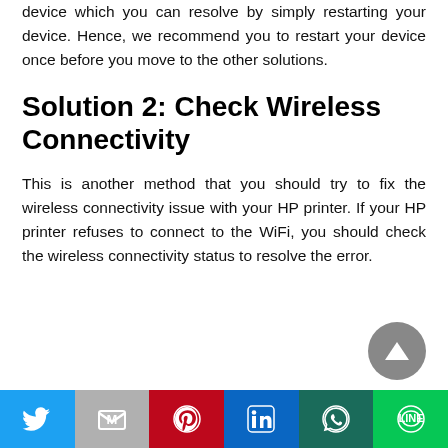device which you can resolve by simply restarting your device. Hence, we recommend you to restart your device once before you move to the other solutions.
Solution 2: Check Wireless Connectivity
This is another method that you should try to fix the wireless connectivity issue with your HP printer. If your HP printer refuses to connect to the WiFi, you should check the wireless connectivity status to resolve the error.
[Figure (other): Scroll-to-top button: circular grey button with upward triangle arrow]
[Figure (other): Social sharing bar with Twitter, Gmail/Email, Pinterest, LinkedIn, WhatsApp, and LINE buttons]